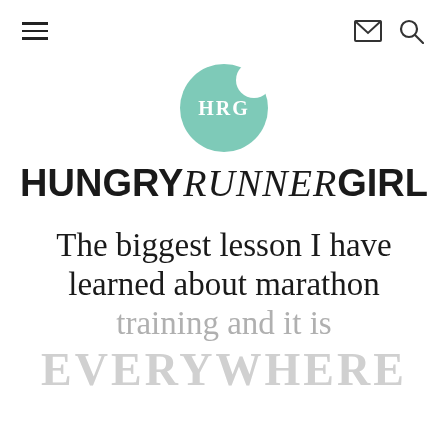≡  ✉ 🔍
[Figure (logo): HRG logo: mint/teal green circle with a bite taken out of the upper right, white text 'HRG' centered inside]
HUNGRY RUNNER GIRL
The biggest lesson I have learned about marathon training and it is EVERYWHERE